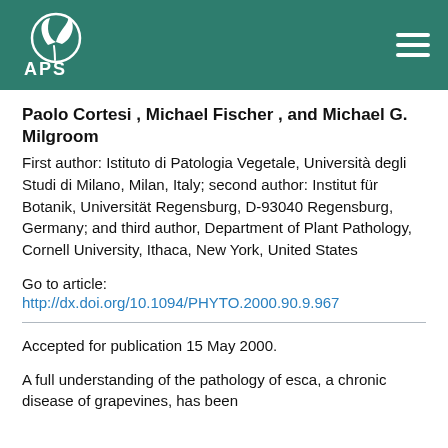APS
Paolo Cortesi , Michael Fischer , and Michael G. Milgroom
First author: Istituto di Patologia Vegetale, Università degli Studi di Milano, Milan, Italy; second author: Institut für Botanik, Universität Regensburg, D-93040 Regensburg, Germany; and third author, Department of Plant Pathology, Cornell University, Ithaca, New York, United States
Go to article:
http://dx.doi.org/10.1094/PHYTO.2000.90.9.967
Accepted for publication 15 May 2000.
A full understanding of the pathology of esca, a chronic disease of grapevines, has been